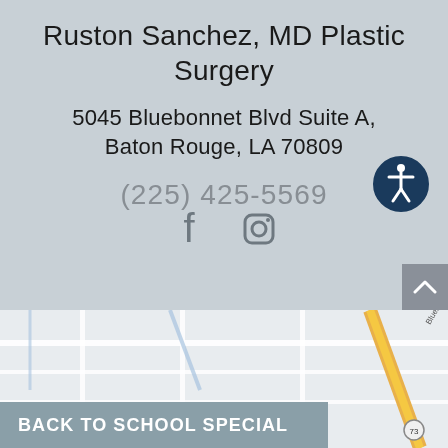Ruston Sanchez, MD Plastic Surgery
5045 Bluebonnet Blvd Suite A, Baton Rouge, LA 70809
(225) 425-5569
[Figure (infographic): Accessibility icon: white figure with arms outstretched in a circle on a dark navy blue background]
[Figure (logo): Facebook and Instagram social media icons in gray]
[Figure (map): Google Maps view showing Bluebonnet Blvd area in Baton Rouge, LA with roads and a yellow diagonal road]
BACK TO SCHOOL SPECIAL